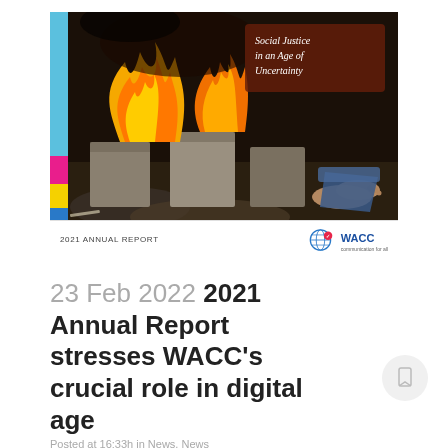[Figure (photo): Cover of WACC 2021 Annual Report titled 'Social Justice in an Age of Uncertainty'. Shows a fire burning on concrete blocks with bare feet visible on the right. Left side has colored stripes (blue, pink, yellow, blue). Bottom bar shows '2021 ANNUAL REPORT' label and WACC logo.]
23 Feb 2022 2021 Annual Report stresses WACC's crucial role in digital age
Posted at 16:33h in News, News